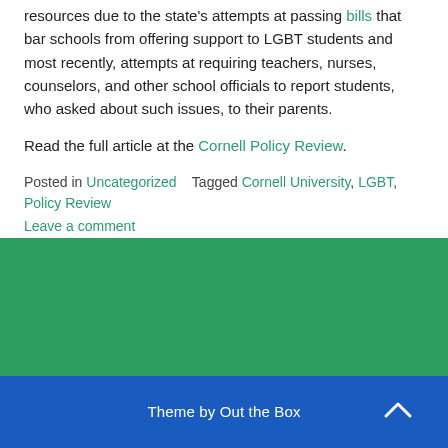resources due to the state's attempts at passing bills that bar schools from offering support to LGBT students and most recently, attempts at requiring teachers, nurses, counselors, and other school officials to report students, who asked about such issues, to their parents.
Read the full article at the Cornell Policy Review.
Posted in Uncategorized   Tagged Cornell University, LGBT, Policy Review
Leave a comment
Theme by Out the Box